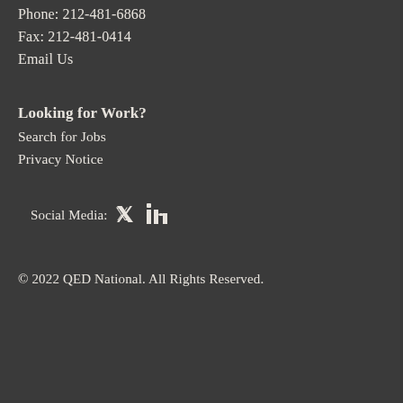Phone: 212-481-6868
Fax: 212-481-0414
Email Us
Looking for Work?
Search for Jobs
Privacy Notice
Social Media: [Twitter icon] [LinkedIn icon]
© 2022 QED National. All Rights Reserved.